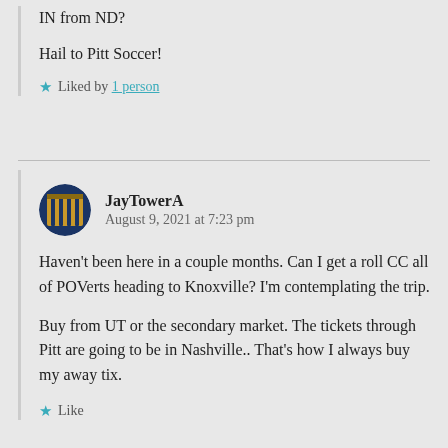IN from ND?
Hail to Pitt Soccer!
★ Liked by 1 person
JayTowerA
August 9, 2021 at 7:23 pm
Haven't been here in a couple months. Can I get a roll CC all of POVerts heading to Knoxville? I'm contemplating the trip.
Buy from UT or the secondary market. The tickets through Pitt are going to be in Nashville.. That's how I always buy my away tix.
★ Like